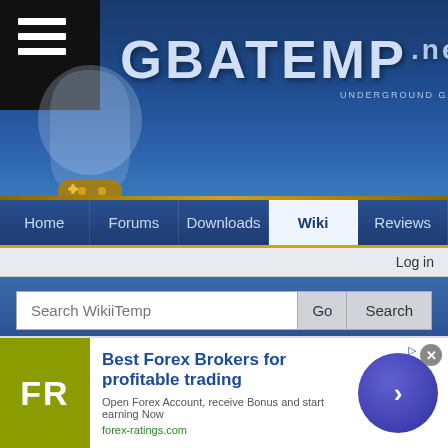[Figure (screenshot): GBAtemp.net website header with logo, ghost mascot, and navigation bar showing Home, Forums, Downloads, Wiki (active), Reviews tabs]
GBATEMP .NET — UNDERGROUND GAMING COMMUNITY
Log in
Search WikiiTemp | Go | Search
Difference between revisions of "Snes9x for 3DS"
Page · Discussion · View source · History
Revision as of 17:25, 1 January 2018 (view source)
Dodain47 (talk | contribs)
(→T: updated the T list)
← Older edit
Revision as of 01:06, 2 January 2018 (view source)
Dodain47 (talk | contribs)
(→T: updated the T list)
Newer edit →
[Figure (screenshot): Advertisement banner for forex-ratings.com: Best Forex Brokers for profitable trading]